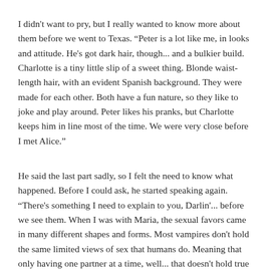I didn't want to pry, but I really wanted to know more about them before we went to Texas. “Peter is a lot like me, in looks and attitude. He's got dark hair, though... and a bulkier build. Charlotte is a tiny little slip of a sweet thing. Blonde waist-length hair, with an evident Spanish background. They were made for each other. Both have a fun nature, so they like to joke and play around. Peter likes his pranks, but Charlotte keeps him in line most of the time. We were very close before I met Alice.”
He said the last part sadly, so I felt the need to know what happened. Before I could ask, he started speaking again. “There's something I need to explain to you, Darlin'... before we see them. When I was with Maria, the sexual favors came in many different shapes and forms. Most vampires don't hold the same limited views of sex that humans do. Meaning that only having one partner at a time, well... that doesn't hold true for most of my kind.